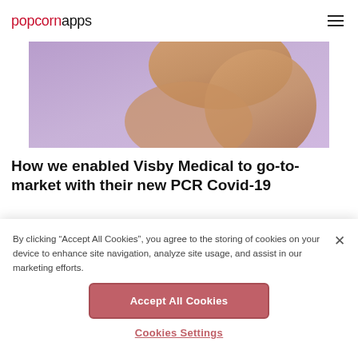popcornapps
[Figure (photo): Partial view of a hand/arm against a purple/lavender background]
How we enabled Visby Medical to go-to-market with their new PCR Covid-19
By clicking “Accept All Cookies”, you agree to the storing of cookies on your device to enhance site navigation, analyze site usage, and assist in our marketing efforts.
Accept All Cookies
Cookies Settings